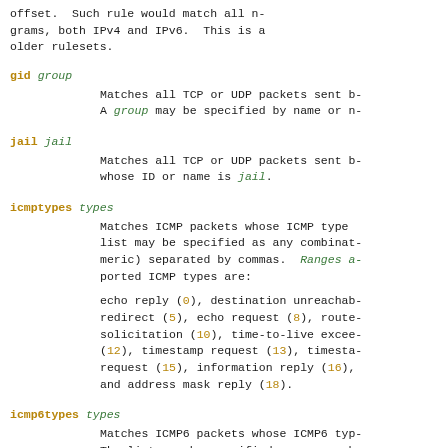offset.  Such rule would match all n-grams, both IPv4 and IPv6.  This is a older rulesets.
gid group
  Matches all TCP or UDP packets sent b-
  A group may be specified by name or n-
jail jail
  Matches all TCP or UDP packets sent b-
  whose ID or name is jail.
icmptypes types
  Matches ICMP packets whose ICMP type
  list may be specified as any combinat-
  meric) separated by commas.  Ranges a-
  ported ICMP types are:
  echo reply (0), destination unreachab-
  redirect (5), echo request (8), route-
  solicitation (10), time-to-live excee-
  (12), timestamp request (13), timesta-
  request (15), information reply (16),
  and address mask reply (18).
icmp6types types
  Matches ICMP6 packets whose ICMP6 typ-
  The list may be specified as any comb-